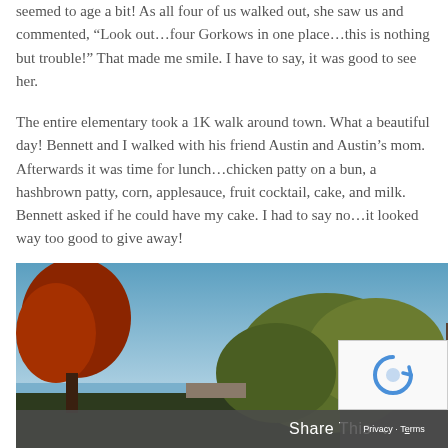seemed to age a bit!  As all four of us walked out, she saw us and commented, “Look out…four Gorkows in one place…this is nothing but trouble!”  That made me smile.  I have to say, it was good to see her.
The entire elementary took a 1K walk around town.  What a beautiful day!  Bennett and I walked with his friend Austin and Austin’s mom.  Afterwards it was time for lunch…chicken patty on a bun, a hashbrown patty, corn, applesauce, fruit cocktail, cake, and milk.  Bennett asked if he could have my cake.  I had to say no…it looked way too good to give away!
[Figure (photo): Outdoor photo showing trees with autumn foliage against a blue sky, taken in a residential or suburban area.]